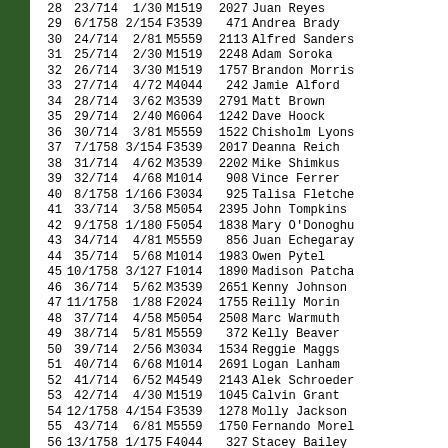| # | Overall | Div | Cat | Bib | Name |
| --- | --- | --- | --- | --- | --- |
| 28 | 23/714 | 1/30 | M1519 | 2027 | Juan Reyes |
| 29 | 6/1758 | 2/154 | F3539 | 471 | Andrea Brady |
| 30 | 24/714 | 2/81 | M5559 | 2113 | Alfred Sanders |
| 31 | 25/714 | 2/30 | M1519 | 2248 | Adam Soroka |
| 32 | 26/714 | 3/30 | M1519 | 1757 | Brandon Morris |
| 33 | 27/714 | 4/72 | M4044 | 242 | Jamie Alford |
| 34 | 28/714 | 3/62 | M3539 | 2791 | Matt Brown |
| 35 | 29/714 | 2/40 | M6064 | 1242 | Dave Hoock |
| 36 | 30/714 | 3/81 | M5559 | 1522 | Chisholm Lyons |
| 37 | 7/1758 | 3/154 | F3539 | 2017 | Deanna Reich |
| 38 | 31/714 | 4/62 | M3539 | 2202 | Mike Shimkus |
| 39 | 32/714 | 4/68 | M1014 | 908 | Vince Ferrer |
| 40 | 8/1758 | 1/166 | F3034 | 925 | Talisa Fletcher |
| 41 | 33/714 | 3/58 | M5054 | 2395 | John Tompkins |
| 42 | 9/1758 | 1/180 | F5054 | 1838 | Mary O'Donoghue |
| 43 | 34/714 | 4/81 | M5559 | 856 | Juan Echegaray |
| 44 | 35/714 | 5/68 | M1014 | 1983 | Owen Pytel |
| 45 | 10/1758 | 3/127 | F1014 | 1890 | Madison Patcha |
| 46 | 36/714 | 5/62 | M3539 | 2651 | Kenny Johnson |
| 47 | 11/1758 | 1/88 | F2024 | 1755 | Reilly Morin |
| 48 | 37/714 | 4/58 | M5054 | 2508 | Marc Warmuth |
| 49 | 38/714 | 5/81 | M5559 | 372 | Kelly Beaver |
| 50 | 39/714 | 2/56 | M3034 | 1534 | Reggie Maggs |
| 51 | 40/714 | 6/68 | M1014 | 2691 | Logan Lanham |
| 52 | 41/714 | 6/52 | M4549 | 2143 | Alek Schroeder |
| 53 | 42/714 | 4/30 | M1519 | 1045 | Calvin Grant |
| 54 | 12/1758 | 4/154 | F3539 | 1278 | Molly Jackson |
| 55 | 43/714 | 6/81 | M5559 | 1750 | Fernando Morel |
| 56 | 13/1758 | 1/175 | F4044 | 327 | Stacey Bailey |
| 57 | 14/1758 | 5/154 | F3539 | 1490 | Kathleen Link |